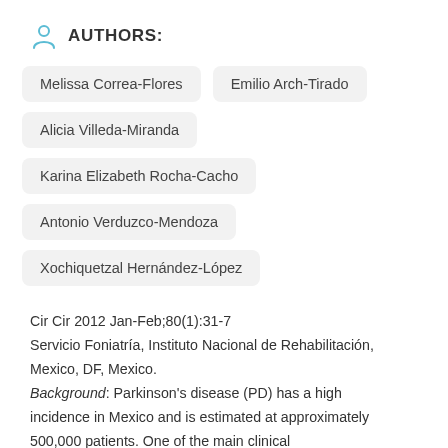AUTHORS:
Melissa Correa-Flores
Emilio Arch-Tirado
Alicia Villeda-Miranda
Karina Elizabeth Rocha-Cacho
Antonio Verduzco-Mendoza
Xochiquetzal Hernández-López
Cir Cir 2012 Jan-Feb;80(1):31-7
Servicio Foniatría, Instituto Nacional de Rehabilitación, Mexico, DF, Mexico.
Background: Parkinson's disease (PD) has a high incidence in Mexico and is estimated at approximately 500,000 patients. One of the main clinical manifestations of PD is dysphagia, which is the difficult passage of food from the mouth to the stomach. The aim of this study was to assess oropharyngeal dysphagia